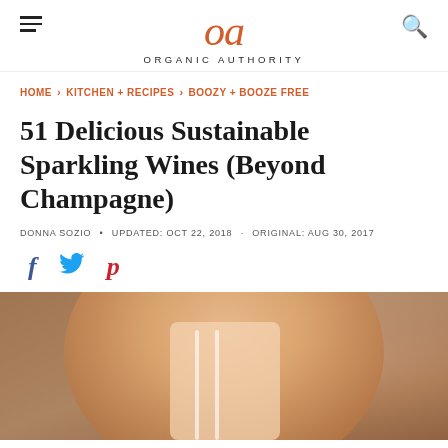Organic Authority
HOME > KITCHEN + RECIPES > BOOZY + BOOZE FREE
51 Delicious Sustainable Sparkling Wines (Beyond Champagne)
DONNA SOZIO • UPDATED: OCT 22, 2018 · ORIGINAL: AUG 30, 2017
[Figure (illustration): Social sharing icons: Facebook (f), Twitter bird, Pinterest (p)]
[Figure (photo): Close-up photo of a person in a white tank top, blurred background, partial view of champagne bottle or sparkling wine]